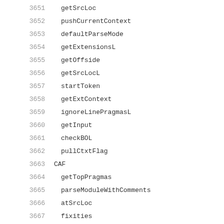3651    getSrcLoc
3652    pushCurrentContext
3653    defaultParseMode
3654    getExtensionsL
3655    getOffside
3656    getSrcLocL
3657    startToken
3658    getExtContext
3659    ignoreLinePragmasL
3660    getInput
3661    checkBOL
3662    pullCtxtFlag
3663  CAF
3664    getTopPragmas
3665    parseModuleWithComments
3666    atSrcLoc
3667    fixities
3668    parseExp
3669    runParserWithMode
3670     runParserWithModeComments
3671      toExtensionList
3672    parseImportDecl
3673  CAF